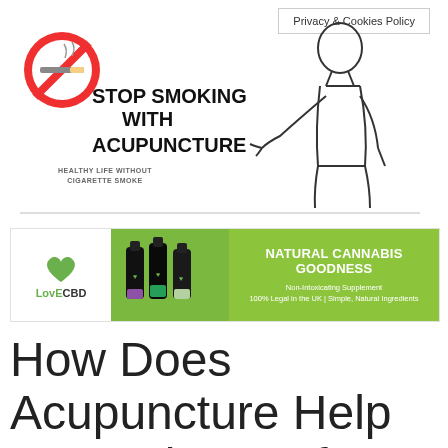Privacy & Cookies Policy
[Figure (illustration): Stop Smoking with Acupuncture promotional image: no-smoking sign (red circle with cigarette crossed out), bold text 'STOP SMOKING WITH ACUPUNCTURE', subtitle 'HEALTHY LIFE WITHOUT CIGARETTE SMOKE', and a line-art drawing of a man pointing]
[Figure (illustration): LoveCBD advertisement banner: green heart logo with 'LoveCBD' text, photo of CBD oil bottles, green panel with text 'NATURAL CANNABIS GOODNESS', 'Non-Intoxicating Supplement', '100% Legal in the UK | Simple, Natural Ingredients']
How Does Acupuncture Help to Break Free from